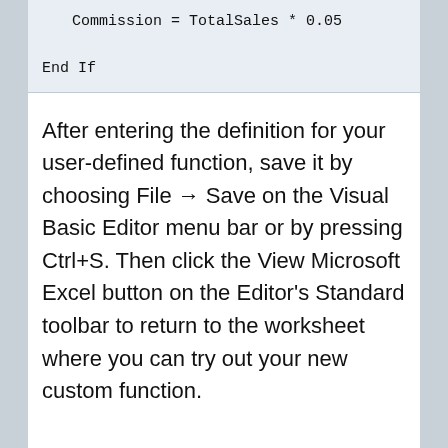Commission = TotalSales * 0.05

End If
After entering the definition for your user-defined function, save it by choosing File → Save on the Visual Basic Editor menu bar or by pressing Ctrl+S. Then click the View Microsoft Excel button on the Editor's Standard toolbar to return to the worksheet where you can try out your new custom function.